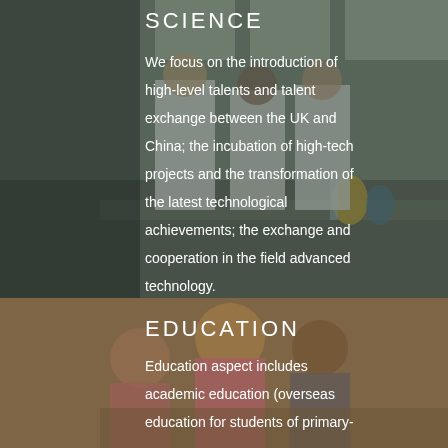[Figure (photo): Scientists/students in lab coats working at a laboratory bench with glassware and equipment, background shows large windows with natural light]
SCIENCE
We focus on the introduction of high-level talents and talent exchange between the UK and China; the incubation of high-tech projects and the transformation of the latest technological achievements; the exchange and cooperation in the field advanced technology.
[Figure (photo): Students studying, focused on work, showing young people writing/reading, warm brown toned background]
EDUCATION
Education aspect includes academic education (overseas education for students of primary-